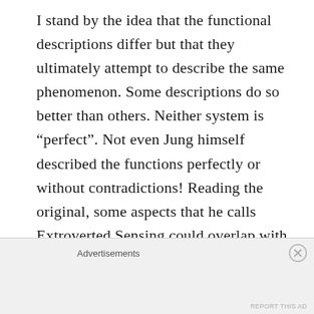I stand by the idea that the functional descriptions differ but that they ultimately attempt to describe the same phenomenon. Some descriptions do so better than others. Neither system is “perfect”. Not even Jung himself described the functions perfectly or without contradictions! Reading the original, some aspects that he calls Extroverted Sensing could overlap with Introverted Sensing or other aspects, for example. But I do believe that Jung was the first one who really zoomed
Advertisements